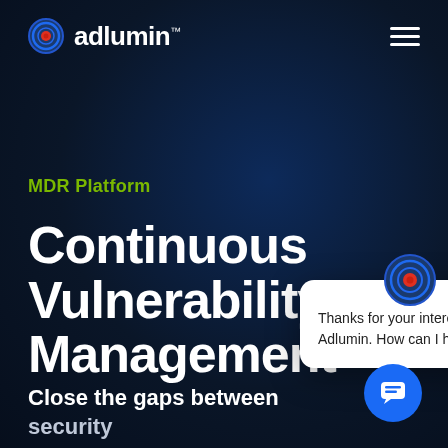[Figure (logo): Adlumin logo: circular icon with concentric blue and red rings, followed by bold white text 'adlumin.' with trademark symbol]
[Figure (other): Hamburger menu icon (three horizontal white lines) in top right corner]
MDR Platform
Continuous Vulnerability Management
Close the gaps between security
[Figure (other): Chat popup widget showing Adlumin logo icon at top, close X button, and message: Thanks for your interest in Adlumin. How can I help?]
[Figure (other): Blue circular chat launcher button with white chat icon in bottom right corner]